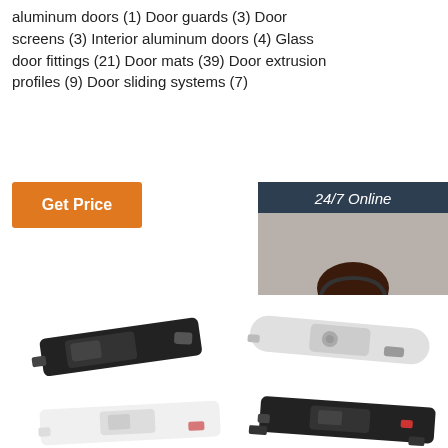aluminum doors (1) Door guards (3) Door screens (3) Interior aluminum doors (4) Glass door fittings (21) Door mats (39) Door extrusion profiles (9) Door sliding systems (7)
[Figure (other): Orange 'Get Price' button]
[Figure (other): Chat widget with dark blue background, '24/7 Online' header, photo of woman with headset, 'Click here for free chat!' text, and orange QUOTATION button]
[Figure (photo): Four door sliding lock/latch hardware products shown in black and white/silver finishes, arranged in a 2x2 grid]